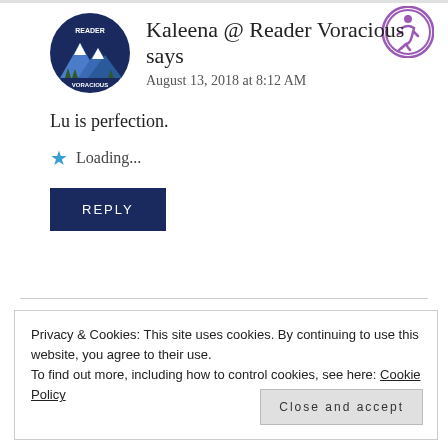Kaleena @ Reader Voracious says
August 13, 2018 at 8:12 AM
Lu is perfection.
Loading...
REPLY
Privacy & Cookies: This site uses cookies. By continuing to use this website, you agree to their use. To find out more, including how to control cookies, see here: Cookie Policy
Close and accept